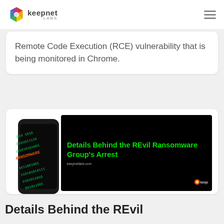keepnet LABS
Remote Code Execution (RCE) vulnerability that is being monitored in Chrome.
[Figure (photo): Composite image: smartphone showing binary code and RANSOMWARE text on screen alongside a dark banner reading 'Details Behind the REvil Ransomware Group's Arrest' with keepnetlabs.com branding]
Details Behind the REvil Ransomware Group's Arrest